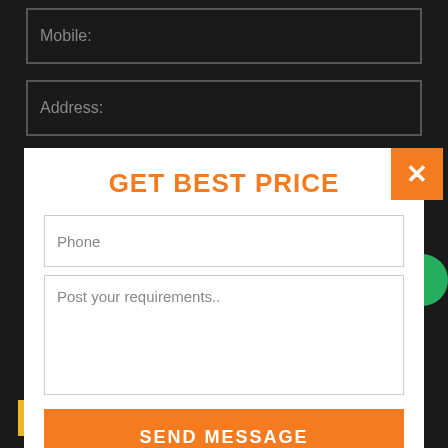Mobile:
Address:
GET BEST PRICE
Phone
Post your requirements..
SEND MESSAGE
ABOUT OUR COMPANY